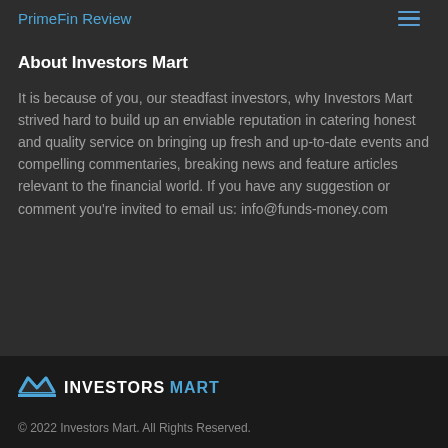PrimeFin Review
About Investors Mart
It is because of you, our steadfast investors, why Investors Mart strived hard to build up an enviable reputation in catering honest and quality service on bringing up fresh and up-to-date events and compelling commentaries, breaking news and feature articles relevant to the financial world. If you have any suggestion or comment you're invited to email us: info@funds-money.com
[Figure (logo): Investors Mart logo with 'M' icon and text 'INVESTORS MART' where MART is in blue]
© 2022 Investors Mart. All Rights Reserved.